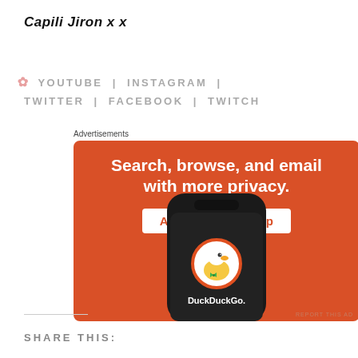Capili Jiron x x
🌸  YOUTUBE  |  INSTAGRAM  |  TWITTER  |  FACEBOOK  |  TWITCH
Advertisements
[Figure (screenshot): DuckDuckGo advertisement on an orange background. Text: 'Search, browse, and email with more privacy. All in One Free App'. Shows a smartphone with DuckDuckGo logo and app name.]
REPORT THIS AD
SHARE THIS: